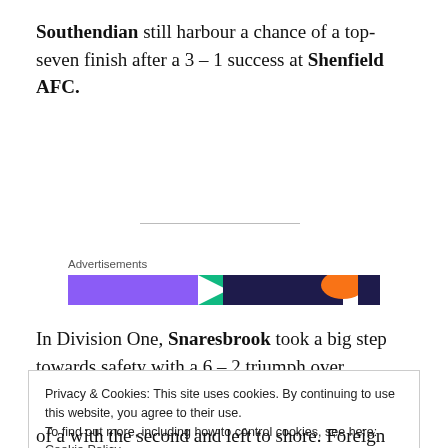Southendian still harbour a chance of a top-seven finish after a 3 – 1 success at Shenfield AFC.
Advertisements
[Figure (other): Colorful advertisement banner with purple, teal, dark navy, and orange segments]
In Division One, Snaresbrook took a big step towards safety with a 6 – 2 triumph over
Privacy & Cookies: This site uses cookies. By continuing to use this website, you agree to their use.
To find out more, including how to control cookies, see here: Cookie Policy
Close and accept
of a with the second and left to shore. Foreign